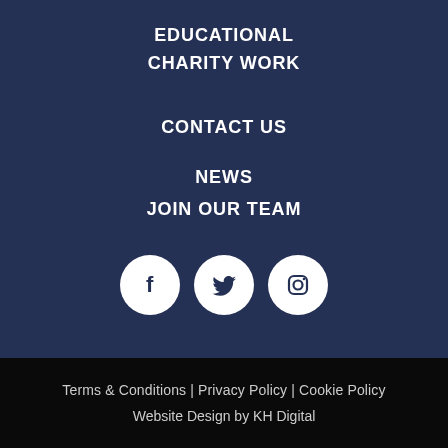EDUCATIONAL CHARITY WORK
CONTACT US
NEWS
JOIN OUR TEAM
[Figure (illustration): Three white circular social media icons on dark navy background: Facebook (f), Twitter (bird), Instagram (camera)]
Terms & Conditions | Privacy Policy | Cookie Policy
Website Design by KH Digital